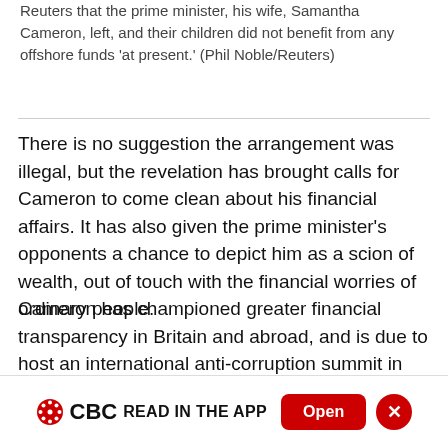Reuters that the prime minister, his wife, Samantha Cameron, left, and their children did not benefit from any offshore funds 'at present.' (Phil Noble/Reuters)
There is no suggestion the arrangement was illegal, but the revelation has brought calls for Cameron to come clean about his financial affairs. It has also given the prime minister's opponents a chance to depict him as a scion of wealth, out of touch with the financial worries of ordinary people.
Cameron has championed greater financial transparency in Britain and abroad, and is due to host an international anti-corruption summit in London next month.
CBC  READ IN THE APP  Open